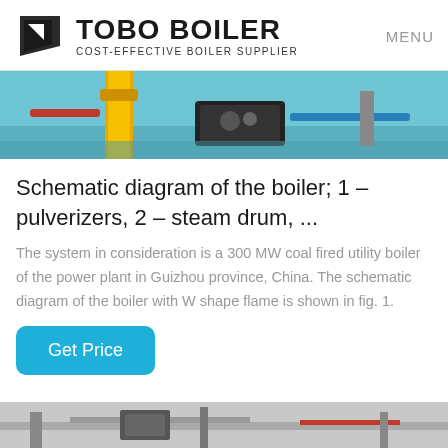TOBO BOILER COST-EFFECTIVE BOILER SUPPLIER | MENU
[Figure (photo): Hero image of industrial boiler equipment with yellow pipes and blue machinery]
Schematic diagram of the boiler; 1 – pulverizers, 2 – steam drum, ...
The system in consideration is a 300 MW coal fired utility boiler of the power plant in Guizhou province, China. The schematic diagram of the boiler with W shape flame is shown in fig. 1.
[Figure (photo): Bottom partial image of industrial piping and equipment]